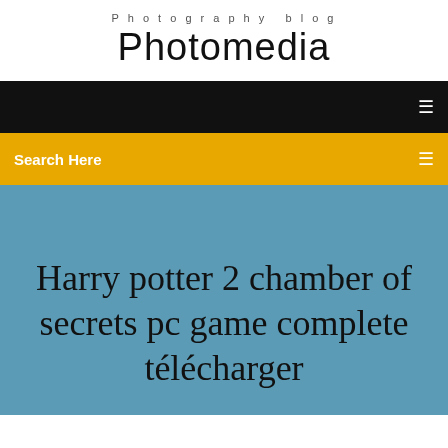Photography blog
Photomedia
[Figure (other): Black navigation bar with a small white menu icon on the right]
[Figure (other): Yellow/orange search bar with 'Search Here' text on the left and a small white icon on the right]
Harry potter 2 chamber of secrets pc game complete télécharger